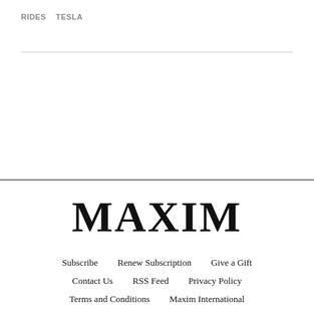RIDES   TESLA
MAXIM
Subscribe
Renew Subscription
Give a Gift
Contact Us
RSS Feed
Privacy Policy
Terms and Conditions
Maxim International